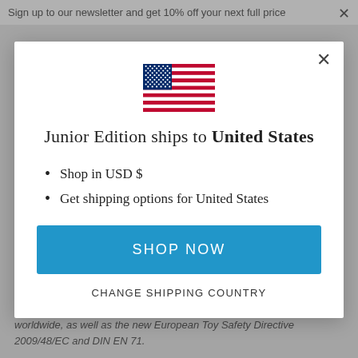Sign up to our newsletter and get 10% off your next full price
[Figure (illustration): US flag icon — stars and stripes, shown in a country-selection modal dialog]
Junior Edition ships to United States
Shop in USD $
Get shipping options for United States
SHOP NOW
CHANGE SHIPPING COUNTRY
worldwide, as well as the new European Toy Safety Directive 2009/48/EC and DIN EN 71.